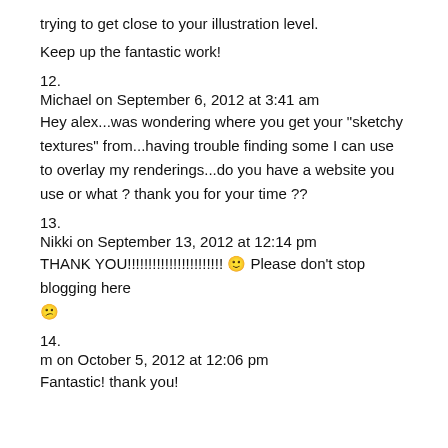trying to get close to your illustration level.
Keep up the fantastic work!
12.
Michael on September 6, 2012 at 3:41 am
Hey alex...was wondering where you get your "sketchy textures" from...having trouble finding some I can use to overlay my renderings...do you have a website you use or what ? thank you for your time ??
13.
Nikki on September 13, 2012 at 12:14 pm
THANK YOU!!!!!!!!!!!!!!!!!!!!!!! 🙂 Please don't stop blogging here 😊
14.
m on October 5, 2012 at 12:06 pm
Fantastic! thank you!